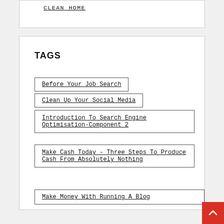CLEAN HOME
TAGS
Before Your Job Search
Clean Up Your Social Media
Introduction To Search Engine Optimisation-Component 2
Make Cash Today - Three Steps To Produce Cash From Absolutely Nothing
Make Money With Running A Blog